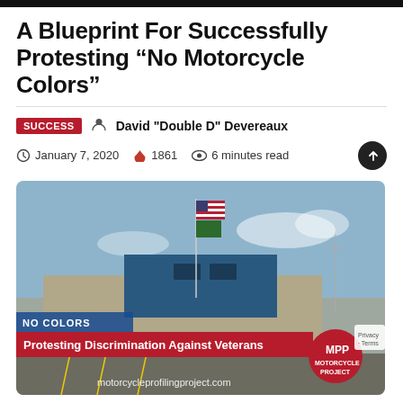A Blueprint For Successfully Protesting “No Motorcycle Colors”
SUCCESS   David "Double D" Devereaux
January 7, 2020   1861   6 minutes read
[Figure (photo): Exterior of a large building with an American flag and another flag on a pole. Overlays read: NO COLORS, Protesting Discrimination Against Veterans, motorcycleprofilingproject.com, and an MPP Motorcycle Project badge.]